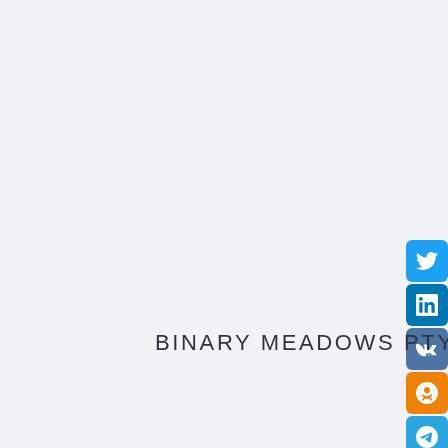[Figure (infographic): Social media sharing buttons: Twitter, LinkedIn, VK, Odnoklassniki, Telegram, Tumblr — stacked vertically on the right side]
BINARY MEADOWS PTY. LTD.